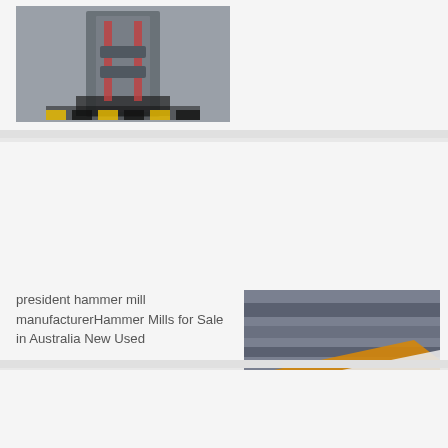[Figure (photo): Industrial hammer mill machinery in a factory setting, viewed from below, showing large mechanical press structure with red and black safety striped base]
[Figure (photo): Close-up of industrial conveyor or mill component lying at an angle on a factory floor, showing orange and white painted metal beam]
president hammer mill manufacturerHammer Mills for Sale in Australia New Used
[Figure (photo): Large industrial grinding mill or hammer mill inside a factory warehouse, showing tall cylindrical machine on a heavy base frame]
Buy Planishing Power Hammers Online Become a Machineryhouse Mate Sign up for Mates Rates